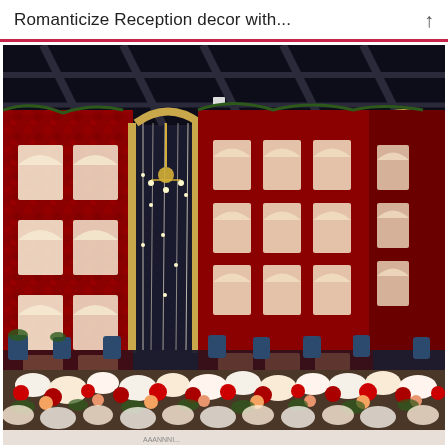Romanticize Reception decor with...
[Figure (photo): Elaborate wedding reception stage backdrop made of dense red roses covering large wall panels with arch-shaped white illuminated niches arranged in rows. Gold metallic arch frame gates with cascading fairy lights hang between the floral wall sections. A chandelier is visible inside one archway. The foreground shows a reflective floor surface and a long arrangement of mixed red, white, and peach flowers along the base. Blue decorative urns are placed along the stage front.]